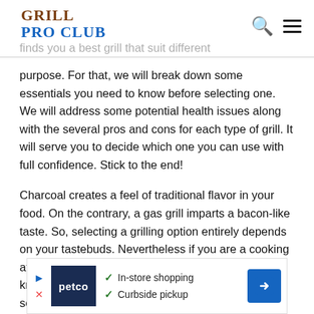GRILL PRO CLUB
purpose. For that, we will break down some essentials you need to know before selecting one. We will address some potential health issues along with the several pros and cons for each type of grill. It will serve you to decide which one you can use with full confidence. Stick to the end!
Charcoal creates a feel of traditional flavor in your food. On the contrary, a gas grill imparts a bacon-like taste. So, selecting a grilling option entirely depends on your tastebuds. Nevertheless if you are a cooking aficionado, you should leave no stone unturned to know the distinctive differences between the two selections.
[Figure (infographic): Petco advertisement banner showing in-store shopping and curbside pickup options with Petco logo and navigation arrow icon]